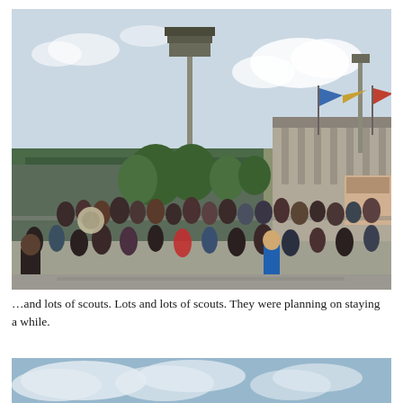[Figure (photo): Outdoor photo showing a crowd of people, including a marching band with brass instruments, gathered on a sidewalk/plaza outside a baseball stadium. Large stadium structure visible in background with tall light towers and flags flying. Trees line the entrance area.]
…and lots of scouts. Lots and lots of scouts. They were planning on staying a while.
[Figure (photo): Partial photo showing a blue sky with clouds, bottom portion of a second outdoor photo.]